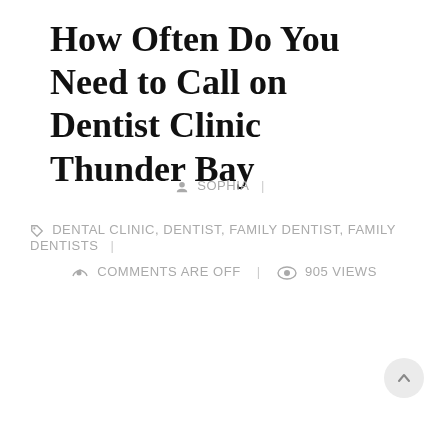How Often Do You Need to Call on Dentist Clinic Thunder Bay
SOPHIA |
DENTAL CLINIC, DENTIST, FAMILY DENTIST, FAMILY DENTISTS |
COMMENTS ARE OFF | 905 VIEWS